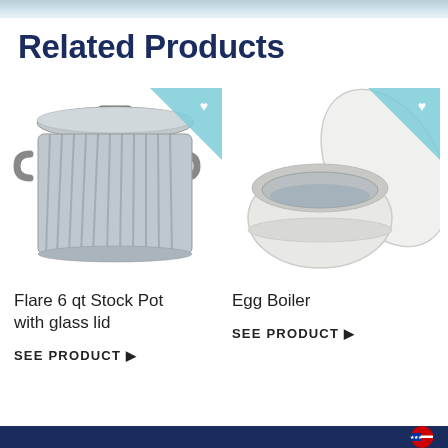Related Products
[Figure (photo): Flare 6 qt Stock Pot with glass lid - silver metallic ribbed pot with two handles and glass lid]
Flare 6 qt Stock Pot with glass lid
SEE PRODUCT ▶
[Figure (photo): Egg Boiler - white round bowl-shaped cooker with lid open showing silver interior]
Egg Boiler
SEE PRODUCT ▶